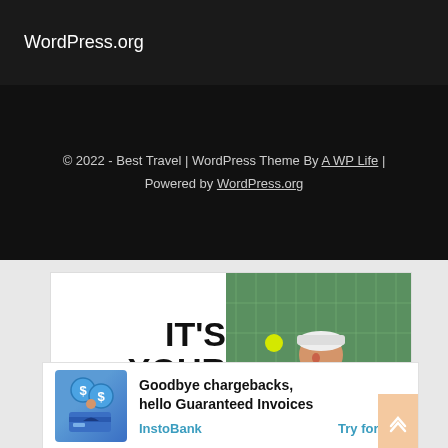WordPress.org
© 2022 - Best Travel | WordPress Theme By A WP Life | Powered by WordPress.org
[Figure (advertisement): Advertisement with text IT'S YOUR MOVE. on left side and a woman playing pickleball on the right side against a green fence background.]
[Figure (advertisement): InstoBank ad: Goodbye chargebacks, hello Guaranteed Invoices. InstoBank. Try for free.]